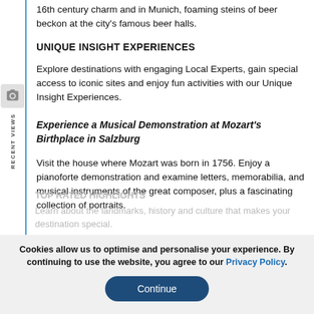16th century charm and in Munich, foaming steins of beer beckon at the city's famous beer halls.
UNIQUE INSIGHT EXPERIENCES
Explore destinations with engaging Local Experts, gain special access to iconic sites and enjoy fun activities with our Unique Insight Experiences.
Experience a Musical Demonstration at Mozart's Birthplace in Salzburg
Visit the house where Mozart was born in 1756. Enjoy a pianoforte demonstration and examine letters, memorabilia, and musical instruments of the great composer, plus a fascinating collection of portraits.
TOP RATED HIGHLIGHTS
Learn about the landmarks, history and culture that makes your destination special.
Cookies allow us to optimise and personalise your experience. By continuing to use the website, you agree to our Privacy Policy.